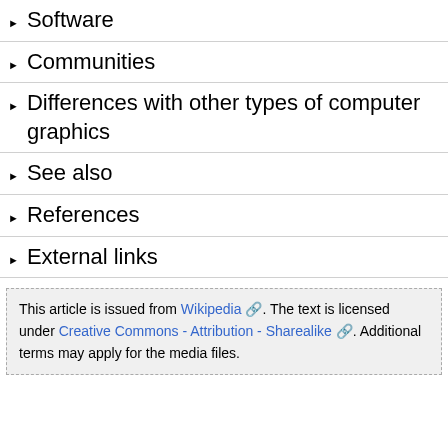▶ Software
▶ Communities
▶ Differences with other types of computer graphics
▶ See also
▶ References
▶ External links
This article is issued from Wikipedia. The text is licensed under Creative Commons - Attribution - Sharealike. Additional terms may apply for the media files.